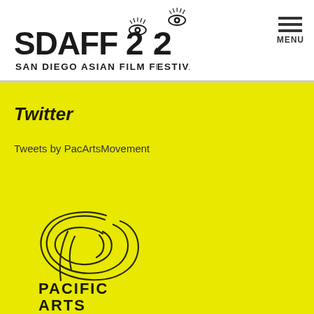[Figure (logo): SDAFF 2022 San Diego Asian Film Festival logo with eye motif in black on white background]
[Figure (other): Hamburger menu icon with MENU label]
Twitter
Tweets by PacArtsMovement
[Figure (logo): Pacific Arts Movement logo - swirling abstract design in dark olive on yellow background]
PACIFIC ARTS